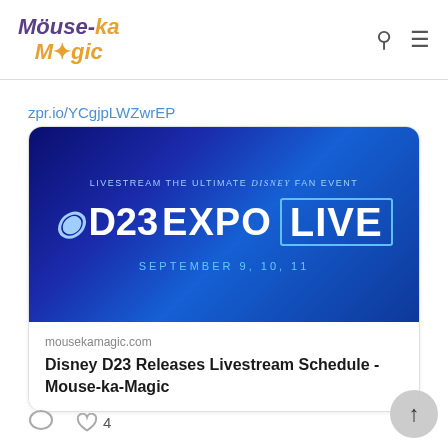Mouse-ka Magic
zpr.io/YCgjpLWZwrEP
[Figure (screenshot): D23 Expo Live promotional banner with dark blue background. Text reads: LIVESTREAM THE ULTIMATE DISNEY FAN EVENT, D23 EXPO [LIVE], SEPTEMBER 9, 10, 11]
mousekamagic.com
Disney D23 Releases Livestream Schedule - Mouse-ka-Magic